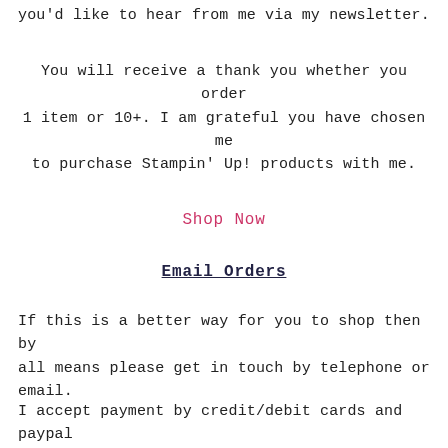you'd like to hear from me via my newsletter.
You will receive a thank you whether you order 1 item or 10+.  I am grateful you have chosen me to purchase Stampin' Up! products with me.
Shop Now
Email Orders
If this is a better way for you to shop then by all means please get in touch by telephone or email.
I accept payment by credit/debit cards and paypal